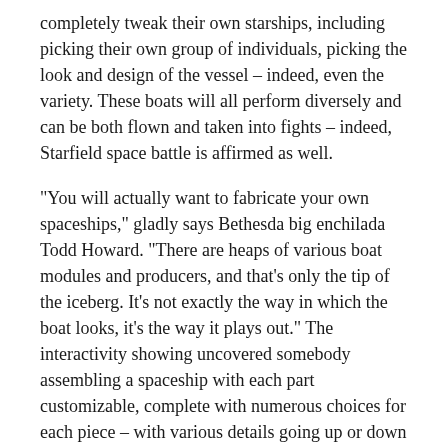completely tweak their own starships, including picking their own group of individuals, picking the look and design of the vessel – indeed, even the variety. These boats will all perform diversely and can be both flown and taken into fights – indeed, Starfield space battle is affirmed as well.
“You will actually want to fabricate your own spaceships,” gladly says Bethesda big enchilada Todd Howard. “There are heaps of various boat modules and producers, and that’s only the tip of the iceberg. It’s not exactly the way in which the boat looks, it’s the way it plays out.” The interactivity showing uncovered somebody assembling a spaceship with each part customizable, complete with numerous choices for each piece – with various details going up or down relying upon the parts that were joined, like motors, safeguards, and weapon frameworks.
Look at the interactivity uncover underneath, including the